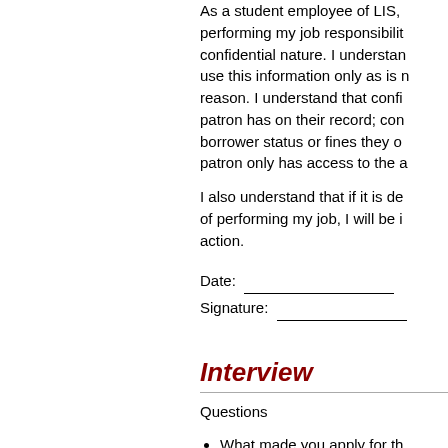As a student employee of LIS, performing my job responsibilities of confidential nature. I understand use this information only as is necessary for reason. I understand that confidential patron has on their record; confidential borrower status or fines they owe; patron only has access to the a
I also understand that if it is determined that I am not performing my job, I will be informed of this in action.
Date:
Signature:
Interview
Questions
What made you apply for th
Any customer service/librar
Talk about a good custome